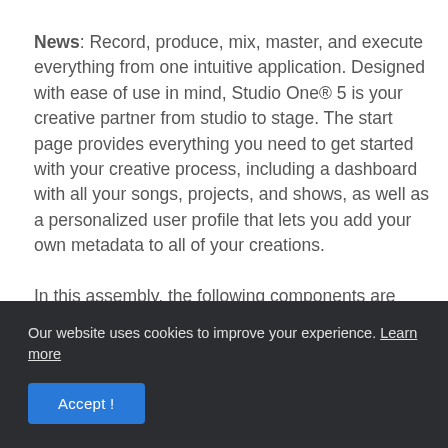News: Record, produce, mix, master, and execute everything from one intuitive application. Designed with ease of use in mind, Studio One® 5 is your creative partner from studio to stage. The start page provides everything you need to get started with your creative process, including a dashboard with all your songs, projects, and shows, as well as a personalized user profile that lets you add your own metadata to all of your creations.

In this assembly, the following components are integrated into
Our website uses cookies to improve your experience. Learn more
Accept!